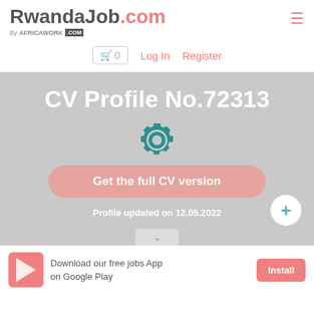RwandaJob.com by AFRICAWORK.COM
🛒 0   Log In   Register
CV Profile No.72313
Get the full CV version
Profile updated on 12.05.2022
Download our free jobs App on Google Play
Install